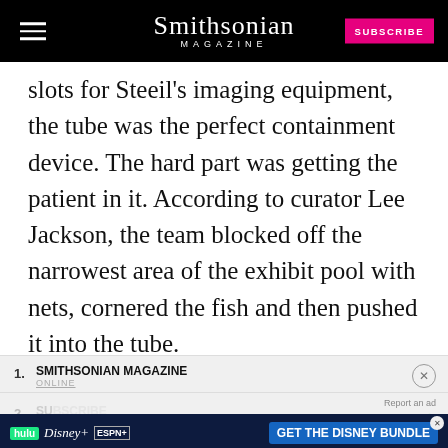Smithsonian MAGAZINE
slots for Steeil's imaging equipment, the tube was the perfect containment device. The hard part was getting the patient in it. According to curator Lee Jackson, the team blocked off the narrowest area of the exhibit pool with nets, cornered the fish and then pushed it into the tube.
1. SMITHSONIAN MAGAZINE ONLINE
2. SUBSCRIBE MAGAZINE
3. SMITHSONIAN MAGAZINE SENIOR DISCOUNT
[Figure (screenshot): Disney Bundle advertisement banner with Hulu, Disney+, and ESPN+ logos and GET THE DISNEY BUNDLE call-to-action button]